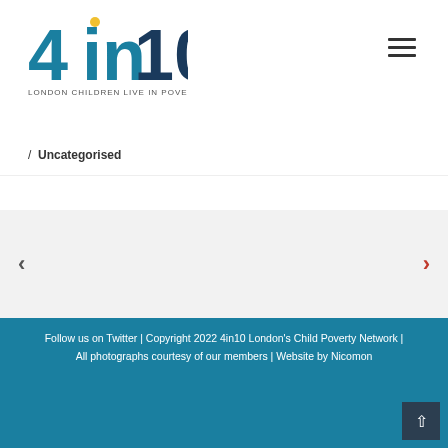[Figure (logo): 4in10 London Children Live in Poverty logo — teal/dark blue text '4in10' with yellow dot above 'i', subtitle 'LONDON CHILDREN LIVE IN POVERTY']
[Figure (other): Hamburger menu icon (three horizontal lines) in dark grey, top-right corner]
/ Uncategorised
[Figure (other): Light grey navigation strip with a left chevron (<) on the left and a right chevron (>) on the right]
Follow us on Twitter | Copyright 2022 4in10 London's Child Poverty Network | All photographs courtesy of our members | Website by Nicomon